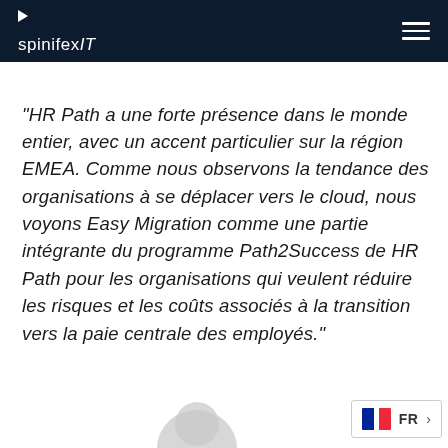spinifexIT
"HR Path a une forte présence dans le monde entier, avec un accent particulier sur la région EMEA. Comme nous observons la tendance des organisations à se déplacer vers le cloud, nous voyons Easy Migration comme une partie intégrante du programme Path2Success de HR Path pour les organisations qui veulent réduire les risques et les coûts associés à la transition vers la paie centrale des employés."